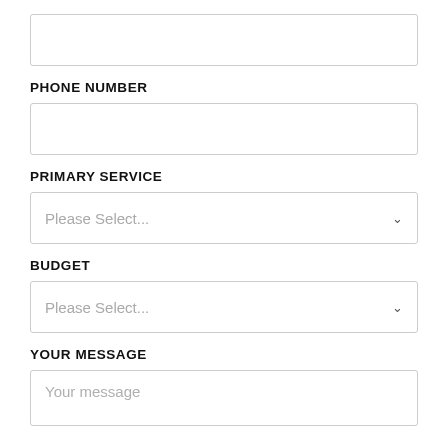[Figure (other): Empty text input box at the top of a web form]
PHONE NUMBER
[Figure (other): Empty text input box for phone number]
PRIMARY SERVICE
[Figure (other): Dropdown select box with placeholder 'Please Select...']
BUDGET
[Figure (other): Dropdown select box with placeholder 'Please Select...']
YOUR MESSAGE
[Figure (other): Textarea input with placeholder text 'Your message']